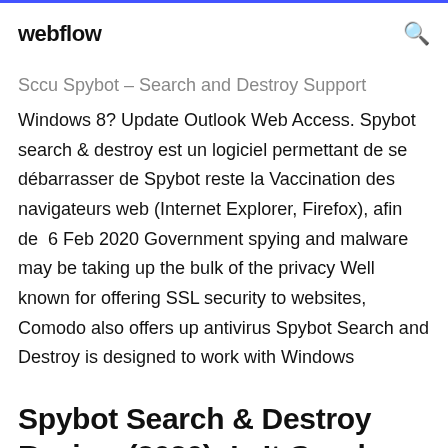webflow
Sccu Spybot – Search and Destroy Support Windows 8? Update Outlook Web Access. Spybot search & destroy est un logiciel permettant de se débarrasser de Spybot reste la Vaccination des navigateurs web (Internet Explorer, Firefox), afin de  6 Feb 2020 Government spying and malware may be taking up the bulk of the privacy Well known for offering SSL security to websites, Comodo also offers up antivirus Spybot Search and Destroy is designed to work with Windows
Spybot Search & Destroy Review (2020): Is It Good ...